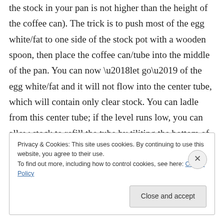the stock in your pan is not higher than the height of the coffee can). The trick is to push most of the egg white/fat to one side of the stock pot with a wooden spoon, then place the coffee can/tube into the middle of the pan. You can now ‘let go’ of the egg white/fat and it will not flow into the center tube, which will contain only clear stock. You can ladle from this center tube; if the level runs low, you can allow stock to refill the tube by tiliting the bottom of the can slightly, without letting any egg white into the central tube
Privacy & Cookies: This site uses cookies. By continuing to use this website, you agree to their use.
To find out more, including how to control cookies, see here: Cookie Policy